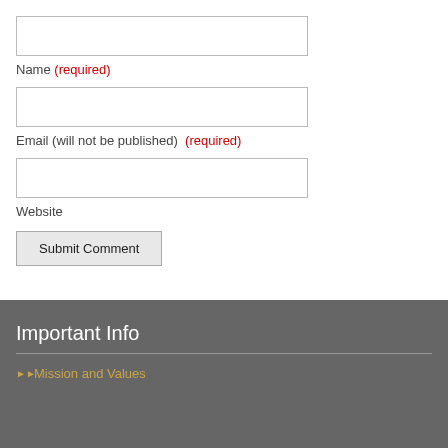Name (required)
Email (will not be published) (required)
Website
Submit Comment
Important Info
Mission and Values